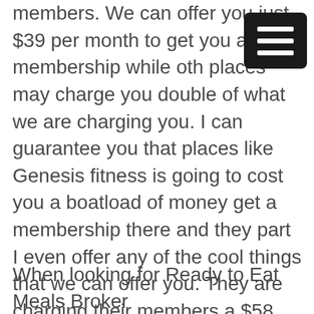members. We can offer you just $39 per month to get you a membership while other places may charge you double of what we are charging you. I can guarantee you that places like Genesis fitness is going to cost you a boatload of money get a membership there and they part I even offer any of the cool things that we can offer you. They are charging their members a $58 fee just to get a member there including a $200 enrollment fee so if you're like me rule us to save money that you should know that our gym is the best gym out there for you. And we make our lives were to be able to help you get to any fitness goals that you have set for yourself.
When looking for Ready to Eat Meals Broker...